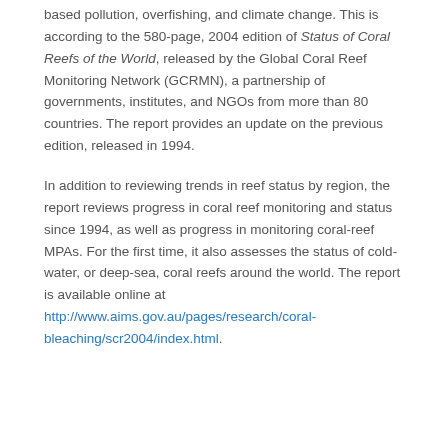based pollution, overfishing, and climate change. This is according to the 580-page, 2004 edition of Status of Coral Reefs of the World, released by the Global Coral Reef Monitoring Network (GCRMN), a partnership of governments, institutes, and NGOs from more than 80 countries. The report provides an update on the previous edition, released in 1994.
In addition to reviewing trends in reef status by region, the report reviews progress in coral reef monitoring and status since 1994, as well as progress in monitoring coral-reef MPAs. For the first time, it also assesses the status of cold-water, or deep-sea, coral reefs around the world. The report is available online at http://www.aims.gov.au/pages/research/coral-bleaching/scr2004/index.html.